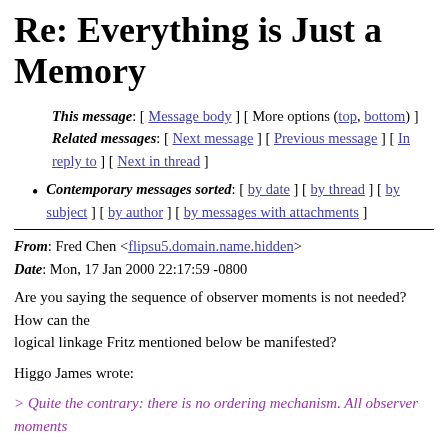Re: Everything is Just a Memory
This message: [ Message body ] [ More options (top, bottom) ]
Related messages: [ Next message ] [ Previous message ] [ In reply to ] [ Next in thread ]
Contemporary messages sorted: [ by date ] [ by thread ] [ by subject ] [ by author ] [ by messages with attachments ]
From: Fred Chen <flipsu5.domain.name.hidden>
Date: Mon, 17 Jan 2000 22:17:59 -0800
Are you saying the sequence of observer moments is not needed? How can the logical linkage Fritz mentioned below be manifested?
Higgo James wrote:
> Quite the contrary: there is no ordering mechanism. All observer moments